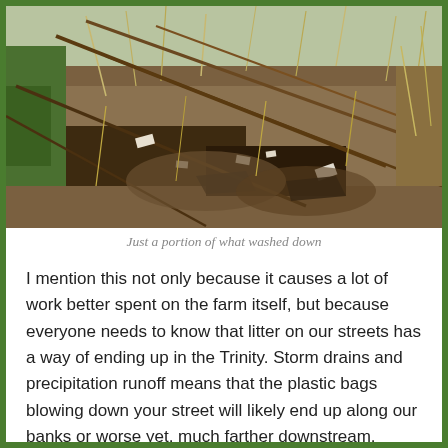[Figure (photo): Outdoor photo showing accumulated litter and debris — dry grass, branches, plastic bags, and other trash washed down along a riverbank or drainage area.]
Just a portion of what washed down
I mention this not only because it causes a lot of work better spent on the farm itself, but because everyone needs to know that litter on our streets has a way of ending up in the Trinity. Storm drains and precipitation runoff means that the plastic bags blowing down your street will likely end up along our banks or worse yet, much farther downstream.